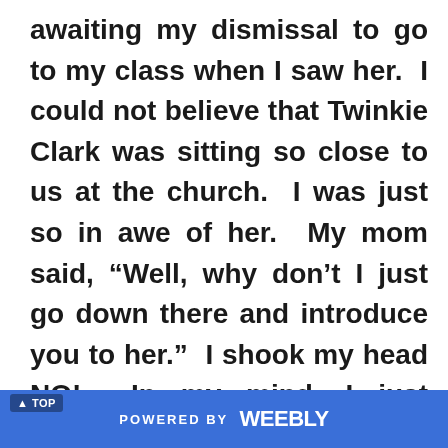awaiting my dismissal to go to my class when I saw her. I could not believe that Twinkie Clark was sitting so close to us at the church. I was just so in awe of her. My mom said, “Well, why don’t I just go down there and introduce you to her.” I shook my head NO! In my mind, I just couldn’t meet her. Afterall, my mother didn’t know her. So, how was she going to introduce me to
POWERED BY weebly